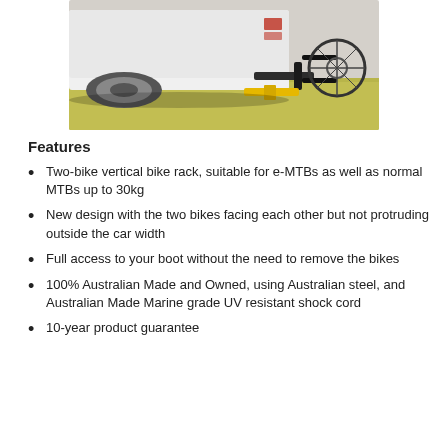[Figure (photo): Rear view of a white SUV/truck with a bike rack mounted on the tow hitch, holding a bicycle, parked on grass with yellow leaves on the ground.]
Features
Two-bike vertical bike rack, suitable for e-MTBs as well as normal MTBs up to 30kg
New design with the two bikes facing each other but not protruding outside the car width
Full access to your boot without the need to remove the bikes
100% Australian Made and Owned, using Australian steel, and Australian Made Marine grade UV resistant shock cord
10-year product guarantee